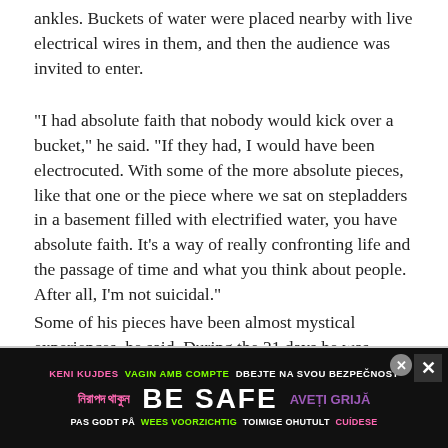ankles. Buckets of water were placed nearby with live electrical wires in them, and then the audience was invited to enter.
"I had absolute faith that nobody would kick over a bucket," he said. "If they had, I would have been electrocuted. With some of the more absolute pieces, like that one or the piece where we sat on stepladders in a basement filled with electrified water, you have absolute faith. It's a way of really confronting life and the passage of time and what you think about people. After all, I'm not suicidal."
Some of his pieces have been almost mystical experiences, he said. During the 21 days he was invisible on the platform in the art gallery, people tried to climb up the walls to see if he was really there.
[Figure (infographic): Black advertisement banner with multilingual 'BE SAFE' message in various colors and scripts including English, Bengali, Catalan, Czech, Estonian, Romanian, Norwegian, Dutch, Finnish, Spanish, and others.]